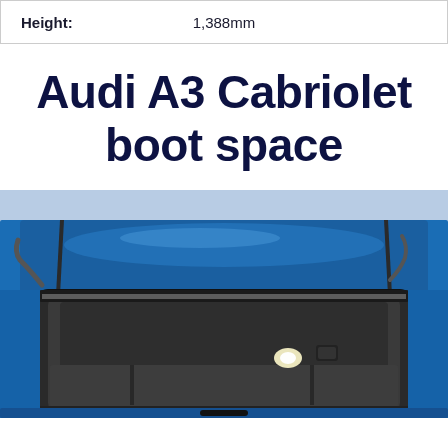| Height: |  |
| --- | --- |
| Height: | 1,388mm |
Audi A3 Cabriolet boot space
[Figure (photo): Photograph of the open boot/trunk of a blue Audi A3 Cabriolet, showing the dark grey carpeted interior of the boot space with the lid raised, tail lights visible on either side, taken from a slightly elevated angle outdoors near water.]